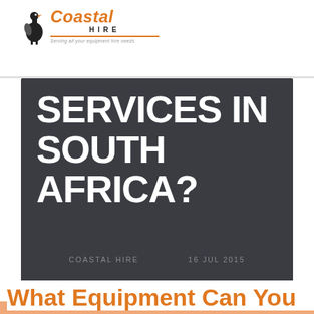[Figure (logo): Coastal Hire logo with ostrich bird, orange italic text 'Coastal', 'HIRE' in black, tagline 'Serving all your equipment hire needs']
SERVICES IN SOUTH AFRICA?
COASTAL HIRE    16 JUL 2015
What Equipment Can You